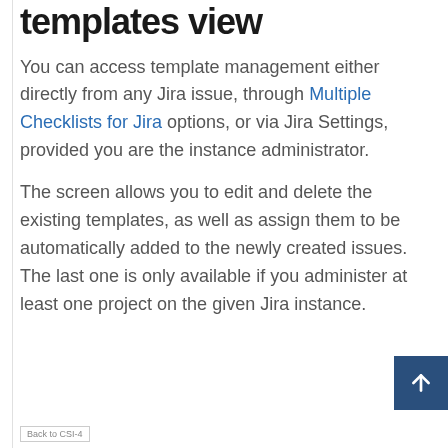templates view
You can access template management either directly from any Jira issue, through Multiple Checklists for Jira options, or via Jira Settings, provided you are the instance administrator.
The screen allows you to edit and delete the existing templates, as well as assign them to be automatically added to the newly created issues. The last one is only available if you administer at least one project on the given Jira instance.
Back to CSI-4